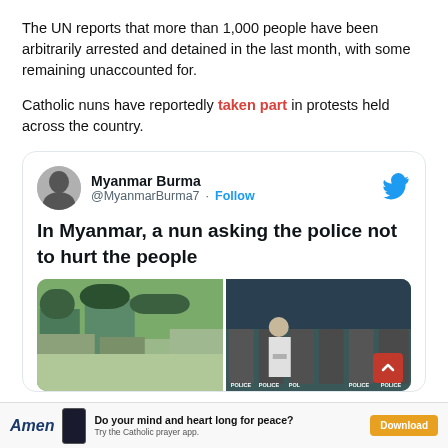The UN reports that more than 1,000 people have been arbitrarily arrested and detained in the last month, with some remaining unaccounted for.
Catholic nuns have reportedly taken part in protests held across the country.
[Figure (screenshot): Embedded tweet from @MyanmarBurma7 (Myanmar Burma) with text: 'In Myanmar, a nun asking the police not to hurt the people', followed by two side-by-side photos — left showing a street scene with trees and buildings, right showing a nun in white/grey habit with hands raised facing a row of riot police labeled POLICE.]
Amen — Do your mind and heart long for peace? Try the Catholic prayer app. Download